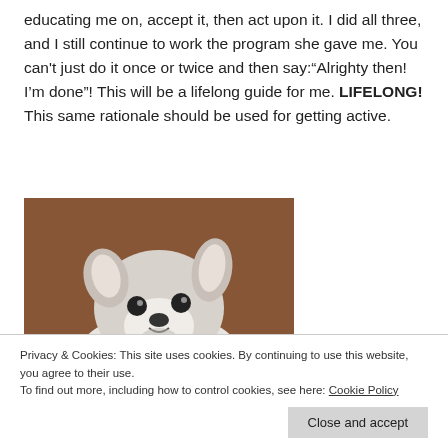educating me on, accept it, then act upon it. I did all three, and I still continue to work the program she gave me. You can't just do it once or twice and then say:"Alrighty then! I'm done"! This will be a lifelong guide for me. LIFELONG! This same rationale should be used for getting active.
[Figure (photo): A small dog (Boston Terrier or French Bulldog puppy) looking upward, photographed against a brown background.]
Privacy & Cookies: This site uses cookies. By continuing to use this website, you agree to their use.
To find out more, including how to control cookies, see here: Cookie Policy
Close and accept